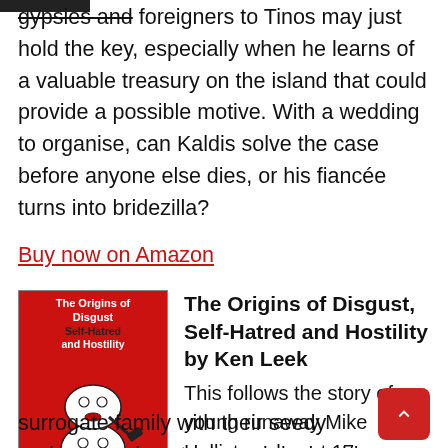gypsies and foreigners to Tinos may just hold the key, especially when he learns of a valuable treasury on the island that could provide a possible motive. With a wedding to organise, can Kaldis solve the case before anyone else dies, or his fiancée turns into bridezilla?
Buy now on Amazon
[Figure (illustration): Book cover for 'The Origins of Disgust Self-Hatred and Hostility' with red background and illustrated figures]
The Origins of Disgust, Self-Hatred and Hostility by Ken Leek
This follows the story of young runaway Mike Hollister who, at 17 years old, has decided to abandon his criminally-minded surrogate family with their seedy underground contacts and devise his own original, high profit